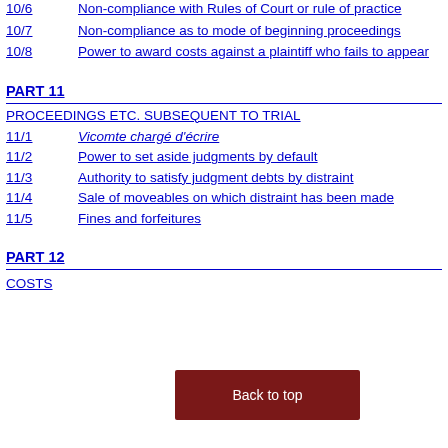10/6  Non-compliance with Rules of Court or rule of practice
10/7  Non-compliance as to mode of beginning proceedings
10/8  Power to award costs against a plaintiff who fails to appear
PART 11
PROCEEDINGS ETC. SUBSEQUENT TO TRIAL
11/1  Vicomte chargé d'écrire
11/2  Power to set aside judgments by default
11/3  Authority to satisfy judgment debts by distraint
11/4  Sale of moveables on which distraint has been made
11/5  Fines and forfeitures
PART 12
COSTS